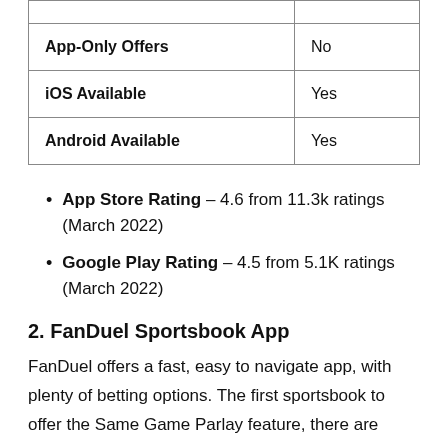|  |  |
| App-Only Offers | No |
| iOS Available | Yes |
| Android Available | Yes |
App Store Rating – 4.6 from 11.3k ratings (March 2022)
Google Play Rating – 4.5 from 5.1K ratings (March 2022)
2. FanDuel Sportsbook App
FanDuel offers a fast, easy to navigate app, with plenty of betting options. The first sportsbook to offer the Same Game Parlay feature, there are many